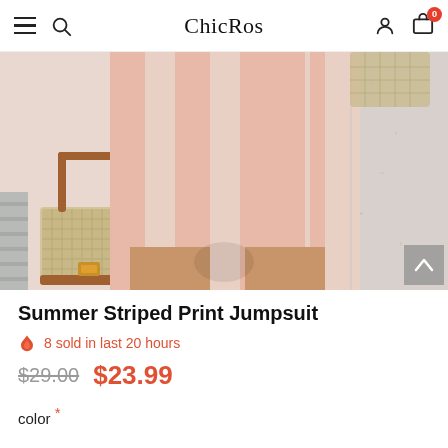ChicRos — navigation header with hamburger menu, search, logo, user icon, cart (0)
[Figure (photo): Close-up of a model wearing a summer striped pink and white jumpsuit/shorts, carrying a wicker bag with brown leather straps. Background is a white stone wall.]
Summer Striped Print Jumpsuit
8 sold in last 20 hours
$29.00  $23.99
color *